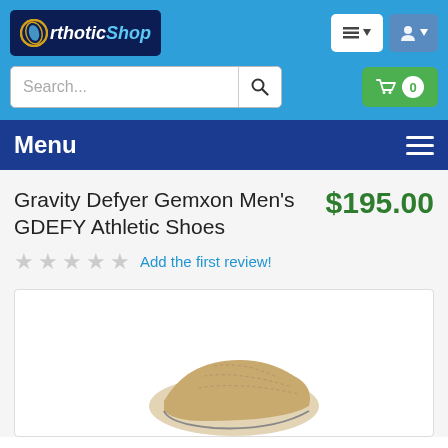[Figure (logo): OrthoticShop logo with foot icon on dark blue background]
[Figure (screenshot): Search bar with magnifying glass icon]
[Figure (screenshot): Green shopping cart button with 0 badge]
Menu
Gravity Defyer Gemxon Men's GDEFY Athletic Shoes
$195.00
Add the first review!
[Figure (photo): Partial view of Gravity Defyer Gemxon athletic shoe in tan/beige color]